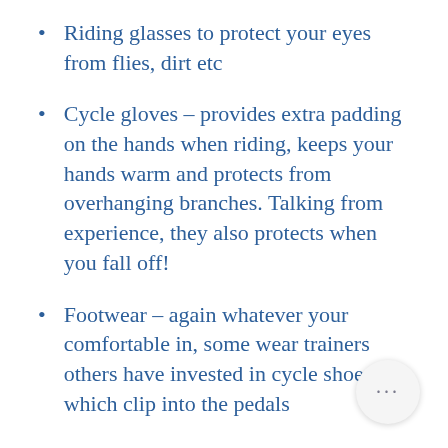Riding glasses to protect your eyes from flies, dirt etc
Cycle gloves – provides extra padding on the hands when riding, keeps your hands warm and protects from overhanging branches. Talking from experience, they also protects when you fall off!
Footwear – again whatever your comfortable in, some wear trainers others have invested in cycle shoes which clip into the pedals
Cycle jersey and jackets – Your preference but keep yourself warm in the winter with layers and cool in the summer with t-